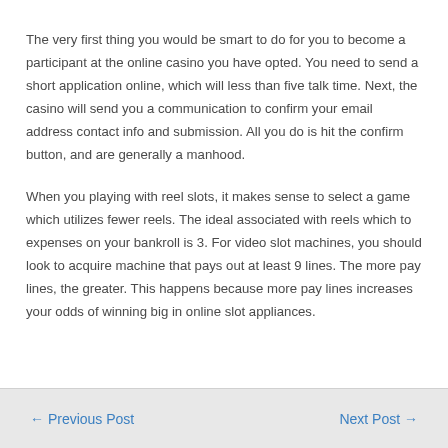The very first thing you would be smart to do for you to become a participant at the online casino you have opted. You need to send a short application online, which will less than five talk time. Next, the casino will send you a communication to confirm your email address contact info and submission. All you do is hit the confirm button, and are generally a manhood.
When you playing with reel slots, it makes sense to select a game which utilizes fewer reels. The ideal associated with reels which to expenses on your bankroll is 3. For video slot machines, you should look to acquire machine that pays out at least 9 lines. The more pay lines, the greater. This happens because more pay lines increases your odds of winning big in online slot appliances.
← Previous Post    Next Post →